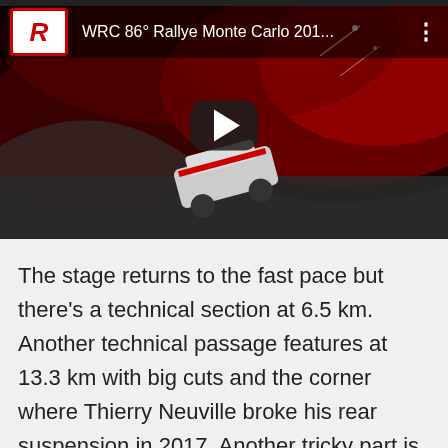[Figure (screenshot): YouTube video thumbnail for 'WRC 86° Rallye Monte Carlo 201...' showing a rally car on track with red dramatic background, a play button in the center, and the Rallycam logo in the top-left corner.]
The stage returns to the fast pace but there's a technical section at 6.5 km. Another technical passage features at 13.3 km with big cuts and the corner where Thierry Neuville broke his rear suspension in 2017. Another tricky part is at 17.3 km and the narrow passing of the La Freyssinie village at 18.5 km. After 18.8 km the stage becomes